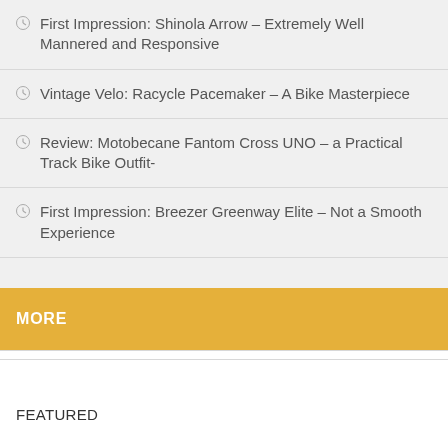First Impression: Shinola Arrow – Extremely Well Mannered and Responsive
Vintage Velo: Racycle Pacemaker – A Bike Masterpiece
Review: Motobecane Fantom Cross UNO – a Practical Track Bike Outfit-
First Impression: Breezer Greenway Elite – Not a Smooth Experience
MORE
FEATURED